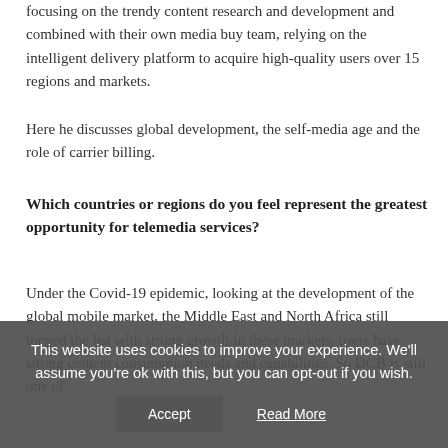focusing on the trendy content research and development and combined with their own media buy team, relying on the intelligent delivery platform to acquire high-quality users over 15 regions and markets.
Here he discusses global development, the self-media age and the role of carrier billing.
Which countries or regions do you feel represent the greatest opportunity for telemedia services?
Under the Covid-19 epidemic, looking at the development of the global mobile market, the Middle East and North Africa still topped the list with strong growth.In these markets, users have strong content consumption needs and capabilities. So DCB is still one of
This website uses cookies to improve your experience. We'll assume you're ok with this, but you can opt-out if you wish.